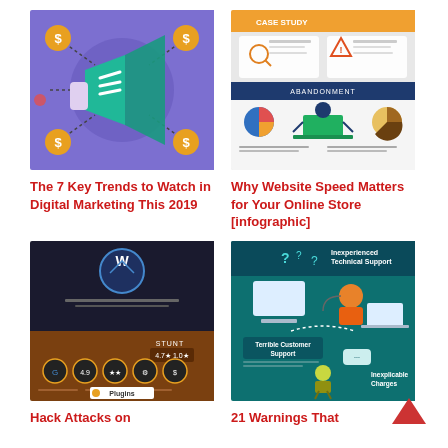[Figure (infographic): Purple background infographic with a megaphone/loudspeaker illustration surrounded by dollar sign coins connected by dashed lines, representing digital marketing trends.]
[Figure (infographic): Light gray background infographic about website speed with charts, a person at a laptop, pie charts, and statistics about abandoned carts and loading times.]
The 7 Key Trends to Watch in Digital Marketing This 2019
Why Website Speed Matters for Your Online Store [infographic]
[Figure (infographic): Brown/dark infographic about WordPress hack attacks showing plugin icons, ratings, and statistics with gold coin icons.]
[Figure (infographic): Teal/dark infographic showing customer service warnings including 'Inexperienced Technical Support', 'Terrible Customer Support', 'Inexplicable Charges' with illustrated characters.]
Hack Attacks on
21 Warnings That